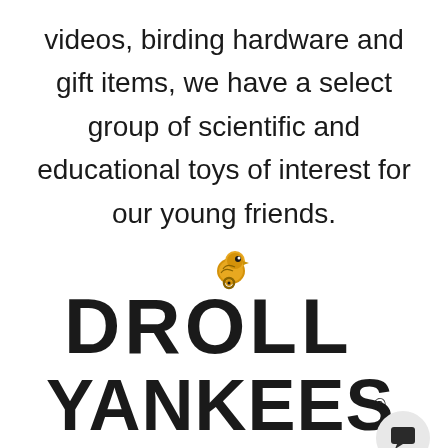videos, birding hardware and gift items, we have a select group of scientific and educational toys of interest for our young friends.
[Figure (logo): Droll Yankees logo featuring a golden bird perched on top of stylized bold black lettering reading 'DROLL YANKEES' with a registered trademark symbol]
Specializing In: